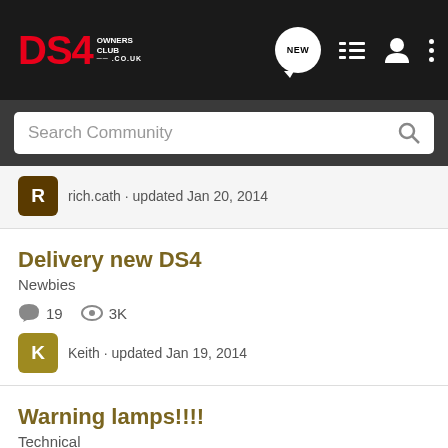DS4 Owners Club
Search Community
rich.cath · updated Jan 20, 2014
Delivery new DS4
Newbies
19  3K
Keith · updated Jan 19, 2014
Warning lamps!!!!
Technical
4  1K
wylie · updated Dec 5, 2013